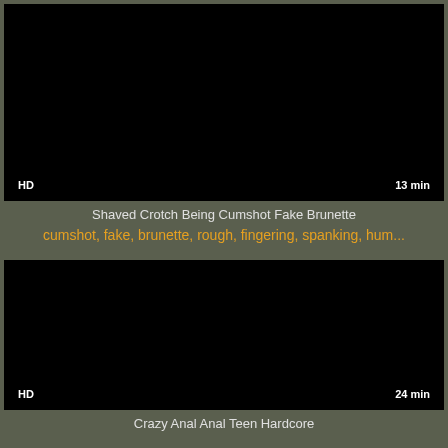[Figure (screenshot): Black video thumbnail with HD badge bottom-left and 13 min badge bottom-right]
Shaved Crotch Being Cumshot Fake Brunette
cumshot, fake, brunette, rough, fingering, spanking, hum...
[Figure (screenshot): Black video thumbnail with HD badge bottom-left and 24 min badge bottom-right]
Crazy Anal Anal Teen Hardcore